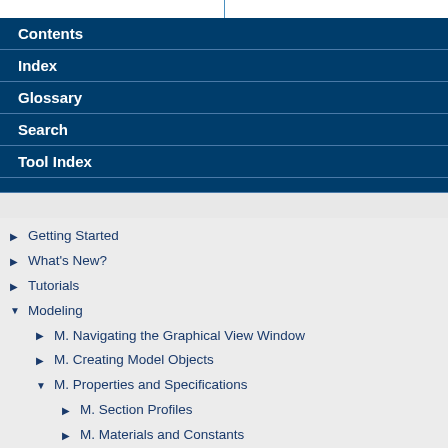Contents
Index
Glossary
Search
Tool Index
Getting Started
What's New?
Tutorials
Modeling
M. Navigating the Graphical View Window
M. Creating Model Objects
M. Properties and Specifications
M. Section Profiles
M. Materials and Constants
M. Member Orientation
M. Member Specifications